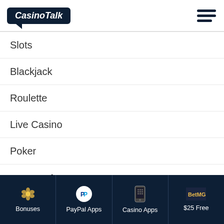CasinoTalk
Slots
Blackjack
Roulette
Live Casino
Poker
Top Casinos Apps
BetMGM
Golden Nugget App
Bonuses | PayPal Apps | Casino Apps | $25 Free